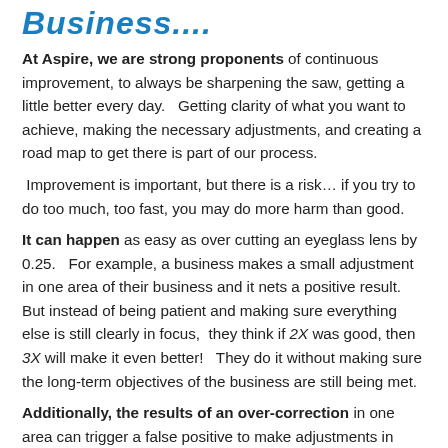Business....
At Aspire, we are strong proponents of continuous improvement, to always be sharpening the saw, getting a little better every day.   Getting clarity of what you want to achieve, making the necessary adjustments, and creating a road map to get there is part of our process.  Improvement is important, but there is a risk… if you try to do too much, too fast, you may do more harm than good.
It can happen as easy as over cutting an eyeglass lens by 0.25.   For example, a business makes a small adjustment in one area of their business and it nets a positive result. But instead of being patient and making sure everything else is still clearly in focus,  they think if 2X was good, then 3X will make it even better!   They do it without making sure the long-term objectives of the business are still being met.
Additionally, the results of an over-correction in one area can trigger a false positive to make adjustments in